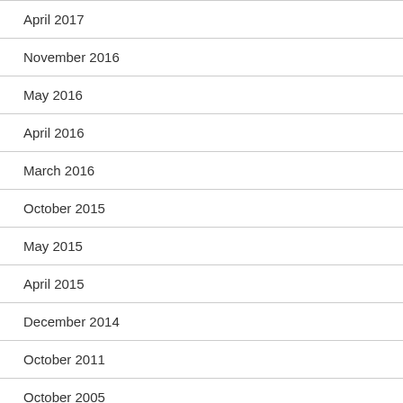April 2017
November 2016
May 2016
April 2016
March 2016
October 2015
May 2015
April 2015
December 2014
October 2011
October 2005